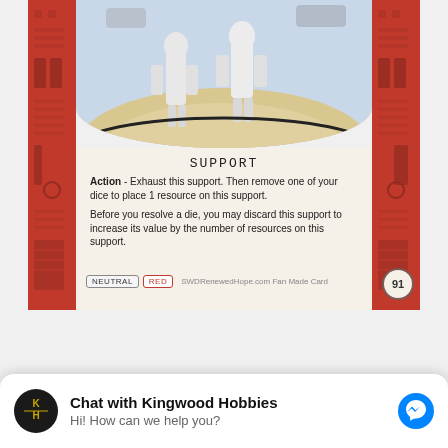[Figure (illustration): Star Wars Destiny fan-made card showing stormtroopers on a sandy surface. Card titled SUPPORT. Card has red side panels and contains game rules text. Tags: NEUTRAL, RED. Number 91. SWDRenewedHope.com Fan Made Card.]
Supply Team – 3/B
Chat with Kingwood Hobbies
Hi! How can we help you?